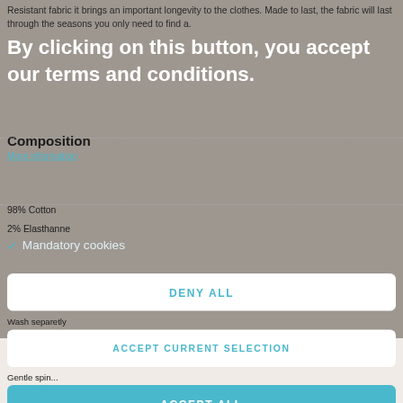Resistant fabric it brings an important longevity to the clothes. Made to last, the fabric will last through the seasons you only need to find a.
By clicking on this button, you accept our terms and conditions.
Composition
More information
98% Cotton
2% Elasthanne
✓ Mandatory cookies
DENY ALL
Wash separetly
ACCEPT CURRENT SELECTION
Gentle spin...
ACCEPT ALL
Machine wash at 30° C
No chlore
Dry cleaning
Iron on a medium heat